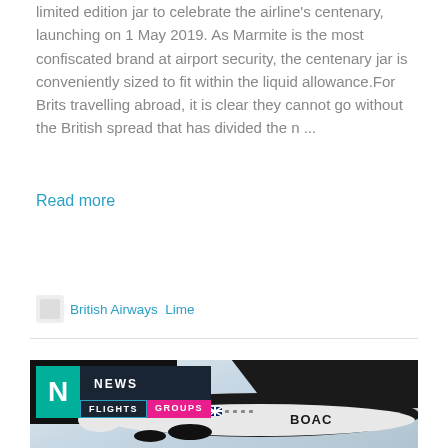limited edition jar to celebrate the airline's centenary, launching on 1 May 2019. As Marmite is the most confiscated brand at airport security, the centenary jar is conveniently sized to fit within the liquid allowance.For Brits travelling abroad, it is clear they cannot go without the British spread that has divided the n ...
Read more
British Airways  Lime
[Figure (photo): News article thumbnail showing an aircraft with BOAC livery on the fuselage, partially visible under a dark overhead structure. Overlaid badge shows N logo with NEWS / FLIGHTS / GROUPS labels.]